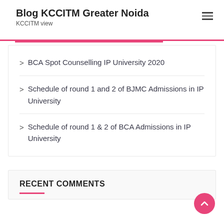Blog KCCITM Greater Noida
KCCITM view
BCA Spot Counselling IP University 2020
Schedule of round 1 and 2 of BJMC Admissions in IP University
Schedule of round 1 & 2 of BCA Admissions in IP University
RECENT COMMENTS